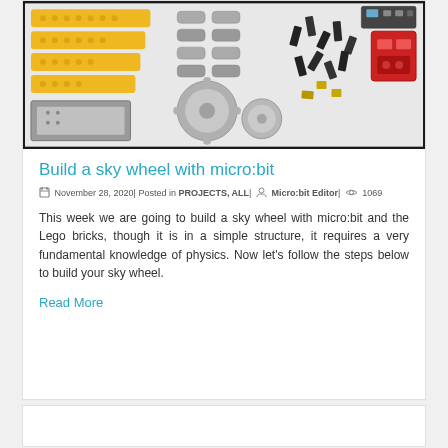[Figure (photo): Photo of LEGO Technic pieces and micro:bit components laid out on a white surface, including yellow gear racks, gray gears, black connectors, and a red component]
Build a sky wheel with micro:bit
November 28, 2020| Posted in PROJECTS, ALL| Micro:bit Editor| 1069
This week we are going to build a sky wheel with micro:bit and the Lego bricks, though it is in a simple structure, it requires a very fundamental knowledge of physics. Now let's follow the steps below to build your sky wheel.
Read More